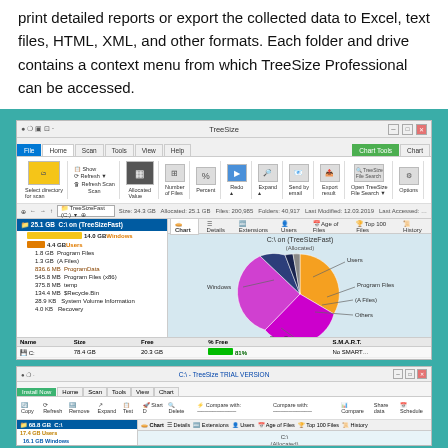print detailed reports or export the collected data to Excel, text files, HTML, XML, and other formats. Each folder and drive contains a context menu from which TreeSize Professional can be accessed.
[Figure (screenshot): Screenshot of TreeSize Professional application showing a Windows-style GUI with ribbon toolbar, folder tree on the left with sizes (25.1 GB C: drive, 14.0 GB Windows, 4.4 GB Users, etc.), and a pie chart on the right showing disk usage breakdown (Windows, Users, Program Files, (A Files), Others, Free Space). Bottom panel shows drive list: C: 78.4 GB, D: 1.78 TB, T: 2.96 TB with free space bars. Status bar shows: Free Space: 20.3 GB (of 20.4 GB) 200,985 Files 0 Excluded 4096 Bytes per Cluster (NTFS)]
[Figure (screenshot): Screenshot of TreeSize TRIAL VERSION application showing a similar interface with folder tree on left and a line/area chart on right showing disk usage, with smaller text and partial view cut off at bottom of page.]